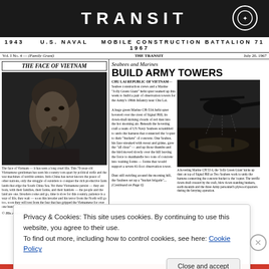TRANSIT
1943  U.S. NAVAL  MOBILE CONSTRUCTION BATTALION 71  1967
Vol. I No. 4 — (Family Grant)   THE TRANSIT   July 20, 1967
THE FACE OF VIETNAM
[Figure (photo): Black and white portrait photo of an elderly Vietnamese man with a beard, looking slightly upward]
The face of Vietnam — it has seen a long cruel life. This 70-year-old Vietnamese gentleman has seen his country torn apart by political strife and the war machines of terrible armies. Indo-China has never known the peace of other nations, only the struggle of outsiders to conquer the rich productive farm lands that edge the South China Sea. Yet these Vietnamese persist — they are born, with their families, their farms, and their hamlets — the people and the land are one. Invaders come and go, time is slow for this country, patience is a way of life, they wait — soon this invader and his terror from the North will go too, soon they will rest from the fear that has gripped the Vietnamese for over one hundred years.
© His Amershan
Seabees and Marines
BUILD ARMY TOWERS
CHU LAI REPUBLIC OF VIETNAM—Seabee construction crews and a Marine "Jolly Green Giant" helicopter teamed up this week to build a pair of observation towers for the Army's 196th Infantry near Chu Lai.
A huge green Marine CH-53A helicopter hovered over the crest of Signal Hill, its down-draft kicking clouds of red dust into the hot morning air. Beneath the hovering craft a team of US Navy Seabees scrambled to undo the harness that connected the 'copter to their "buckets" of concrete. One Seabee, his face streaked with sweat and grime, gave the "all clear" — and up those thumbs-and the bird moved slowly over the hill leaving the force to manhandle two tons of concrete into waiting forms — forms that would support a seven 41-foot observation tower.
Dust still swirling around the morning hill, the Seabees set up a "bucket brigade"... (Continued on Page 6)
[Figure (photo): Black and white photo of a Marine CH-53 helicopter hovering low, with dust and debris below, and Seabees working on the ground]
A hovering Marine CH-53 d, the 'Jolly Green Giant' kicks up dust on top of Signal Hill as Two Seabees work to undo the harness connecting the concrete bucket to the 'copter. The terrific down-draft created by the craft, blew down standing bunkers, earth mounds and the three Army personnel's plywood quarters during the ferrying operation.
Privacy & Cookies: This site uses cookies. By continuing to use this website, you agree to their use.
To find out more, including how to control cookies, see here: Cookie Policy
Close and accept